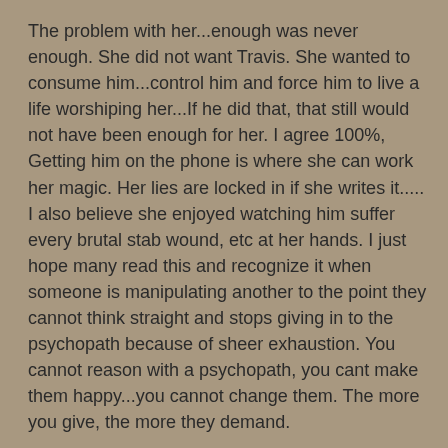The problem with her...enough was never enough. She did not want Travis. She wanted to consume him...control him and force him to live a life worshiping her...If he did that, that still would not have been enough for her. I agree 100%, Getting him on the phone is where she can work her magic. Her lies are locked in if she writes it..... I also believe she enjoyed watching him suffer every brutal stab wound, etc at her hands. I just hope many read this and recognize it when someone is manipulating another to the point they cannot think straight and stops giving in to the psychopath because of sheer exhaustion. You cannot reason with a psychopath, you cant make them happy...you cannot change them. The more you give, the more they demand.